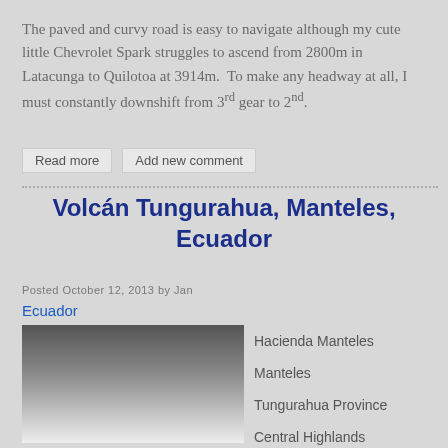The paved and curvy road is easy to navigate although my cute little Chevrolet Spark struggles to ascend from 2800m in Latacunga to Quilotoa at 3914m.  To make any headway at all, I must constantly downshift from 3rd gear to 2nd.
Read more
Add new comment
Volcán Tungurahua, Manteles, Ecuador
Posted October 12, 2013 by Jan
Ecuador
[Figure (photo): Photograph of Volcán Tungurahua near Hacienda Manteles, showing dark volcanic clouds]
Hacienda Manteles
Manteles
Tungurahua Province
Central Highlands